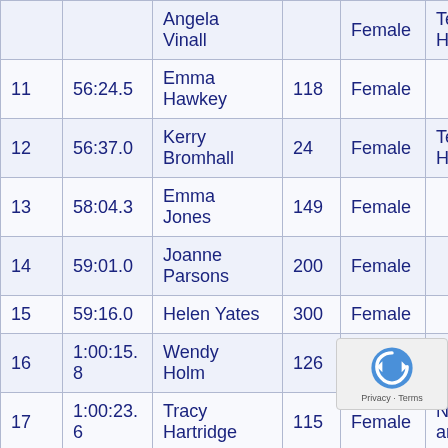| # | Time | Name | No. | Gender | Club |
| --- | --- | --- | --- | --- | --- |
| 10 | ~ | Angela Vinall | ~ | Female | Telford Harrie... |
| 11 | 56:24.5 | Emma Hawkey | 118 | Female |  |
| 12 | 56:37.0 | Kerry Bromhall | 24 | Female | Telford Harrie... |
| 13 | 58:04.3 | Emma Jones | 149 | Female |  |
| 14 | 59:01.0 | Joanne Parsons | 200 | Female |  |
| 15 | 59:16.0 | Helen Yates | 300 | Female |  |
| 16 | 1:00:15.8 | Wendy Holm | 126 | Female | Shrops Shuffle... |
| 17 | 1:00:23.6 | Tracy Hartridge | 115 | Female | Newpo and Di... |
| 18 | 1:00:27.1 | Rachael Brown | 27 | Female | Runni... |